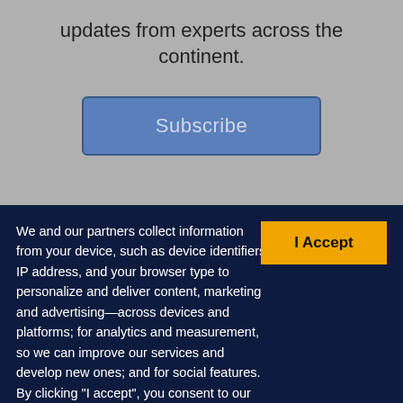updates from experts across the continent.
Subscribe
I Accept
We and our partners collect information from your device, such as device identifiers, IP address, and your browser type to personalize and deliver content, marketing and advertising—across devices and platforms; for analytics and measurement, so we can improve our services and develop new ones; and for social features. By clicking “I accept”, you consent to our use of these Cookies. Visit our Privacy Policy to learn more.
YOUR USE OF THIS SITE SIGNIFIES YOUR AGREEMENT TO THIS PRIVACY POLICY.